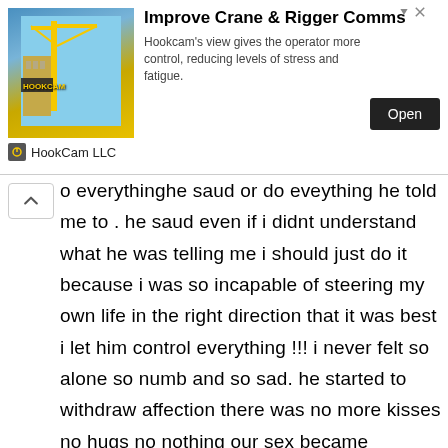[Figure (screenshot): Advertisement banner for HookCam LLC showing a crane/construction site image on the left, with the headline 'Improve Crane & Rigger Comms', descriptive text, an Open button, and the company name HookCam LLC with logo below.]
o everythinghe saud or do eveything he told me to . he saud even if i didnt understand what he was telling me i should just do it because i was so incapable of steering my own life in the right direction that it was best i let him control everything !!! i never felt so alone so numb and so sad. he started to withdraw affection there was no more kisses no hugs no nothing our sex became meaningless at times during forplay he wouldnt even look at me or he would look at a porno to become aroused and once he was